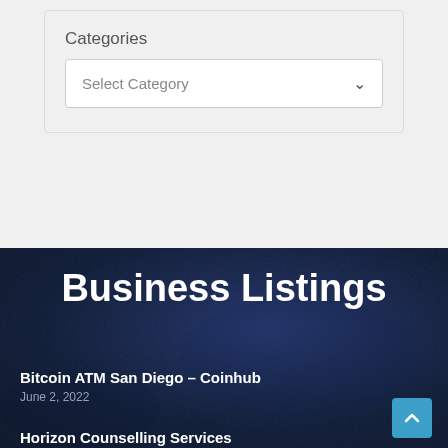Categories
Select Category
Business Listings
Bitcoin ATM San Diego – Coinhub
June 2, 2022
Horizon Counselling Services